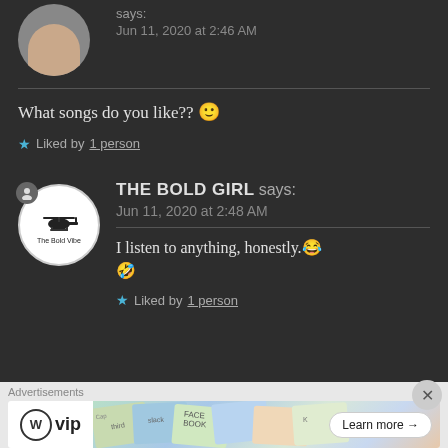says:
Jun 11, 2020 at 2:46 AM
What songs do you like?? 🙂
★ Liked by 1 person
THE BOLD GIRL says:
Jun 11, 2020 at 2:48 AM
I listen to anything, honestly.😂
🤣
★ Liked by 1 person
Advertisements
[Figure (logo): WordPress VIP advertisement with Learn more button]